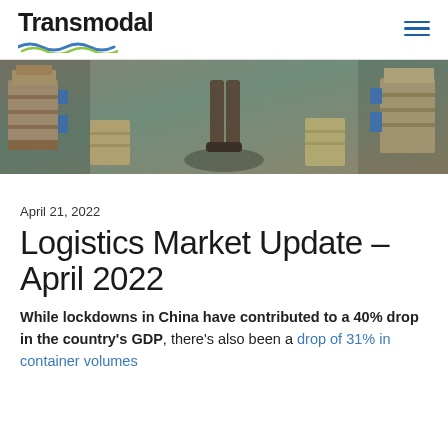Transmodal
[Figure (photo): Aerial/overhead view of a warehouse or logistics facility floor showing pallets and stacked goods with a worker visible, greenish floor color]
April 21, 2022
Logistics Market Update – April 2022
While lockdowns in China have contributed to a 40% drop in the country's GDP, there's also been a drop of 31% in container volumes